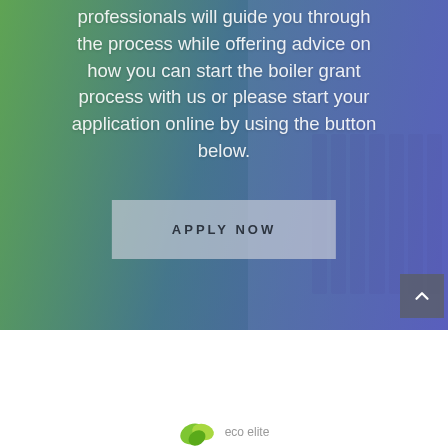professionals will guide you through the process while offering advice on how you can start the boiler grant process with us or please start your application online by using the button below.
[Figure (other): APPLY NOW call-to-action button overlaid on a green-to-blue tinted background showing a boiler/radiator heating system]
[Figure (logo): Green leaf/plant logo mark at bottom of page]